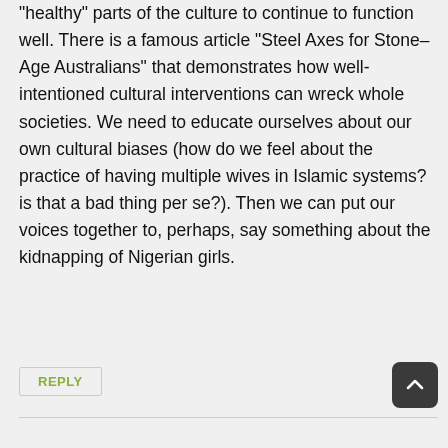“healthy” parts of the culture to continue to function well. There is a famous article “Steel Axes for Stone–Age Australians” that demonstrates how well-intentioned cultural interventions can wreck whole societies. We need to educate ourselves about our own cultural biases (how do we feel about the practice of having multiple wives in Islamic systems? is that a bad thing per se?). Then we can put our voices together to, perhaps, say something about the kidnapping of Nigerian girls.